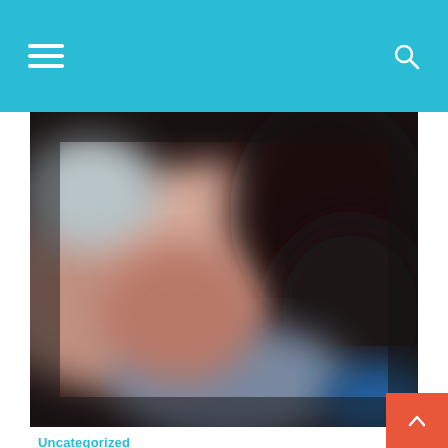Navigation bar with hamburger menu and search icon
[Figure (photo): Blurred close-up food/meat photo in warm tones with dark background]
Uncategorized
Post With Small Image
by admin on  0
Pork loin tongue spare ribs cow jerky meatball flank ham hock shankle pork chop brisket. Jowl swine pancetta ham hock beef ribs alcatra tenderloin pork ribs meatball and beef from